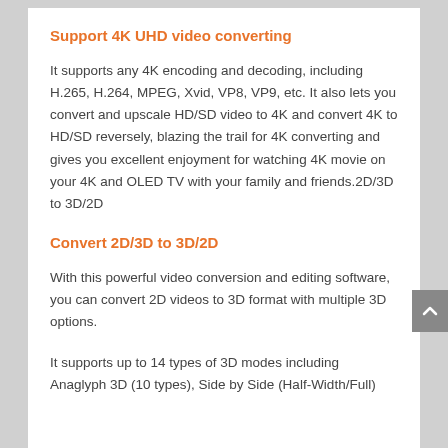Support 4K UHD video converting
It supports any 4K encoding and decoding, including H.265, H.264, MPEG, Xvid, VP8, VP9, etc. It also lets you convert and upscale HD/SD video to 4K and convert 4K to HD/SD reversely, blazing the trail for 4K converting and gives you excellent enjoyment for watching 4K movie on your 4K and OLED TV with your family and friends.2D/3D to 3D/2D
Convert 2D/3D to 3D/2D
With this powerful video conversion and editing software, you can convert 2D videos to 3D format with multiple 3D options.
It supports up to 14 types of 3D modes including Anaglyph 3D (10 types), Side by Side (Half-Width/Full)